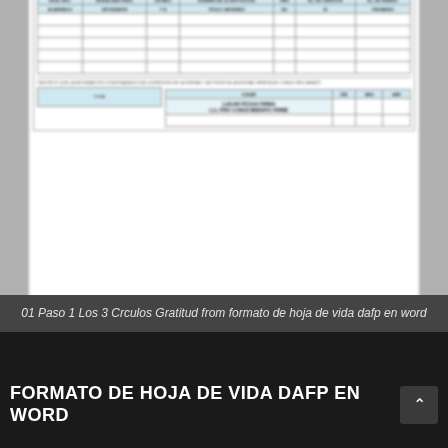[Figure (screenshot): Blurred screenshot of a Colombian government DAFP curriculum vitae (hoja de vida) form showing sections for academic formation and professional/technical studies, with tables containing fields for institution names, dates, titles, and a signature area at the bottom.]
01 Paso 1 Los 3 Crculos Gratitud from formato de hoja de vida dafp en word
FORMATO DE HOJA DE VIDA DAFP EN WORD